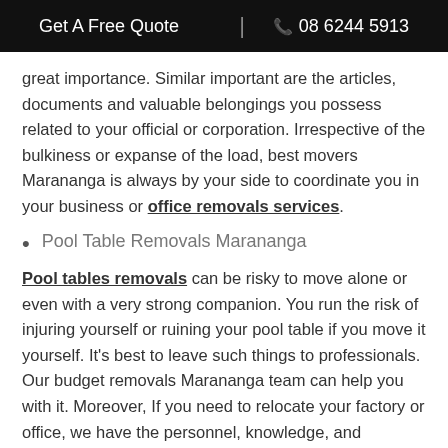Get A Free Quote | 08 6244 5913
great importance. Similar important are the articles, documents and valuable belongings you possess related to your official or corporation. Irrespective of the bulkiness or expanse of the load, best movers Marananga is always by your side to coordinate you in your business or office removals services.
Pool Table Removals Marananga
Pool tables removals can be risky to move alone or even with a very strong companion. You run the risk of injuring yourself or ruining your pool table if you move it yourself. It's best to leave such things to professionals. Our budget removals Marananga team can help you with it. Moreover, If you need to relocate your factory or office, we have the personnel, knowledge, and